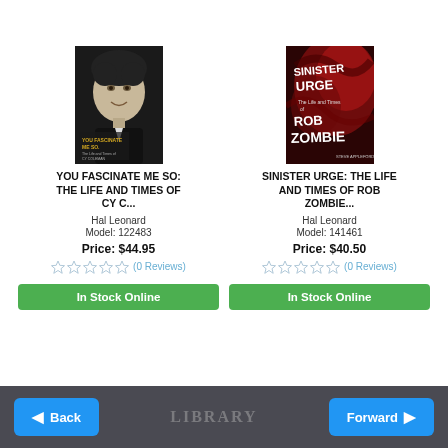[Figure (illustration): Book cover of 'You Fascinate Me So: The Life and Times of Cy Coleman' showing a black and white portrait photo of a person smiling, with yellow title text at bottom]
YOU FASCINATE ME SO: THE LIFE AND TIMES OF CY C...
Hal Leonard
Model: 122483
Price: $44.95
(0 Reviews)
In Stock Online
[Figure (illustration): Book cover of 'Sinister Urge: The Life and Times of Rob Zombie' with dark red/black horror-style cover with dramatic text]
SINISTER URGE: THE LIFE AND TIMES OF ROB ZOMBIE...
Hal Leonard
Model: 141461
Price: $40.50
(0 Reviews)
In Stock Online
Back | Forward